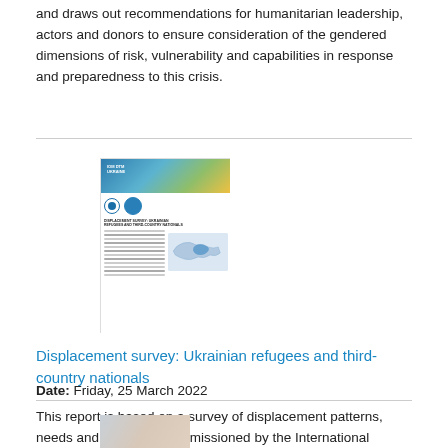and draws out recommendations for humanitarian leadership, actors and donors to ensure consideration of the gendered dimensions of risk, vulnerability and capabilities in response and preparedness to this crisis.
[Figure (illustration): Thumbnail image of a report document — a multi-page layout with a blue-green-yellow gradient header and body text columns with a map graphic.]
Displacement survey: Ukrainian refugees and third-country nationals
Date: Friday, 25 March 2022
This report is based on a survey of displacement patterns, needs and intentions commissioned by the International Organization for Migration (IOM) in partnership with UN Women.
[Figure (photo): Partial thumbnail image of another report or resource, cropped at the bottom of the page.]